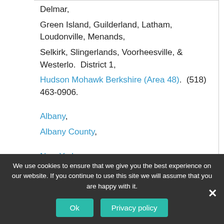Delmar, Green Island, Guilderland, Latham, Loudonville, Menands, Selkirk, Slingerlands, Voorheesville, & Westerlo.  District 1, Hudson Mohawk Berkshire (Area 48).  (518) 463-0906.
Albany, Albany County, New York.
We use cookies to ensure that we give you the best experience on our website. If you continue to use this site we will assume that you are happy with it.